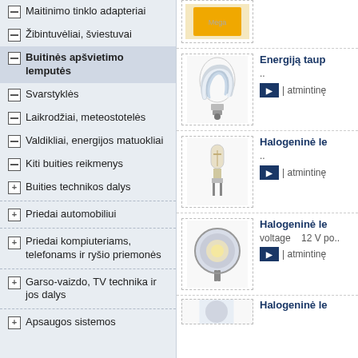Maitinimo tinklo adapteriai
Žibintuvėliai, šviestuvai
Buitinės apšvietimo lemputės
Svarstyklės
Laikrodžiai, meteostotelės
Valdikliai, energijos matuokliai
Kiti buities reikmenys
Buities technikos dalys
Priedai automobiliui
Priedai kompiuteriams, telefonams ir ryšio priemonės
Garso-vaizdo, TV technika ir jos dalys
Apsaugos sistemos
[Figure (photo): Product image top partial]
[Figure (photo): Energy saving light bulb spiral]
Energiją taup..
.. | atmintinę
[Figure (photo): Halogen lamp small capsule]
Halogeninė le..
.. | atmintinę
[Figure (photo): Halogen reflector lamp MR16]
Halogeninė le..
voltage   12 V po..
| atmintinę
[Figure (photo): Halogen lamp bottom partial]
Halogeninė le..